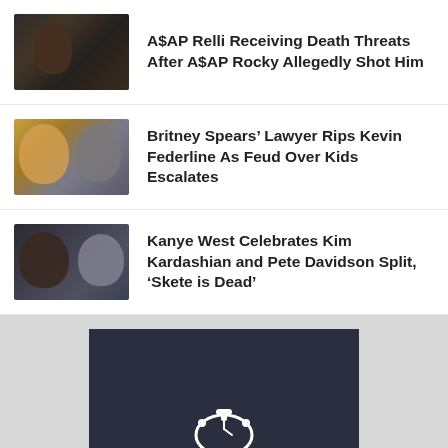A$AP Relli Receiving Death Threats After A$AP Rocky Allegedly Shot Him
Britney Spears’ Lawyer Rips Kevin Federline As Feud Over Kids Escalates
Kanye West Celebrates Kim Kardashian and Pete Davidson Split, ‘Skete is Dead’
[Figure (logo): Dark navy banner with a stopwatch/clock icon at the bottom of the page]